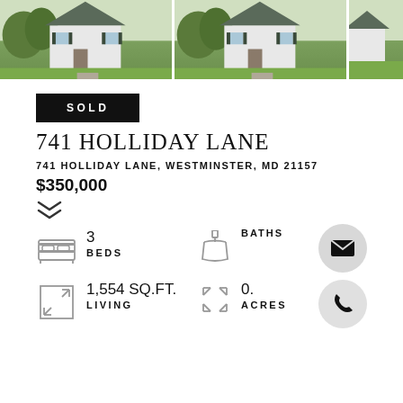[Figure (photo): Three photos of a house exterior with green lawn, shown as a horizontal strip at top]
SOLD
741 HOLLIDAY LANE
741 HOLLIDAY LANE, WESTMINSTER, MD 21157
$350,000
3 BEDS
BATHS
1,554 SQ.FT. LIVING
0. ACRES